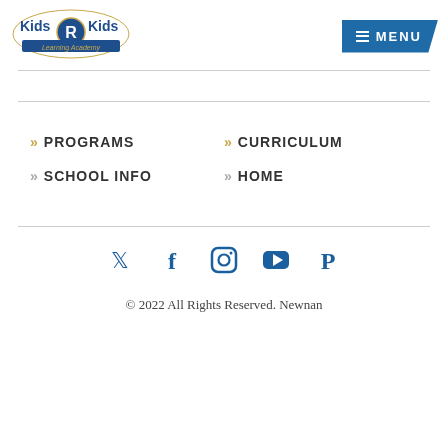[Figure (logo): Kids R Kids Learning Academy logo - shield with kids illustration, blue and gold colors]
[Figure (other): Blue MENU button with hamburger icon lines, trapezoid shape]
>> PROGRAMS
>> CURRICULUM
>> SCHOOL INFO
>> HOME
[Figure (other): Social media icons: Twitter, Facebook, Instagram, YouTube, Pinterest - all in dark blue]
© 2022 All Rights Reserved. Newnan